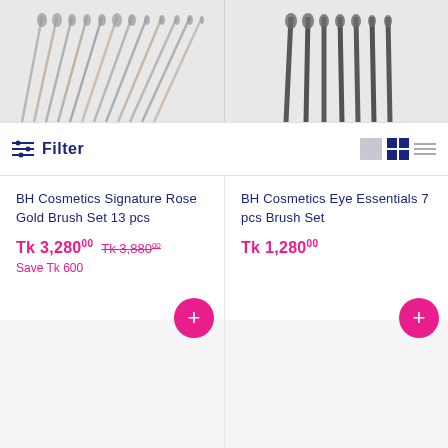[Figure (photo): Top portion of two makeup brush set images - left shows Rose Gold brushes fanned out, right shows darker handled brushes arranged vertically]
Filter
BH Cosmetics Signature Rose Gold Brush Set 13 pcs
Tk 3,280.00  Tk 3,880.00
Save Tk 600
BH Cosmetics Eye Essentials 7 pcs Brush Set
Tk 1,280.00
[Figure (photo): Product image area for BH Cosmetics Signature Rose Gold Brush Set - light gray background with SALE badge]
[Figure (photo): Product image area for BH Cosmetics Eye Essentials 7 pcs Brush Set - light gray background with SALE badge]